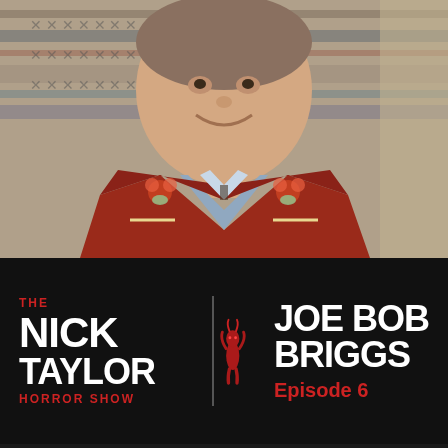[Figure (photo): Man smiling, wearing a red and light blue Western-style embroidered shirt with floral designs, sitting in front of a colorful striped blanket or textile backdrop.]
[Figure (logo): The Nick Taylor Horror Show podcast banner. Logo on left shows 'THE NICK TAYLOR HORROR SHOW' in red and white text with a horror figure silhouette. Right side reads 'JOE BOB BRIGGS' in large white text and 'Episode 6' in red text. Black background.]
Nov. 20, 2018
Joe Bob Briggs on the State of Horror Cinema [Episode 6]